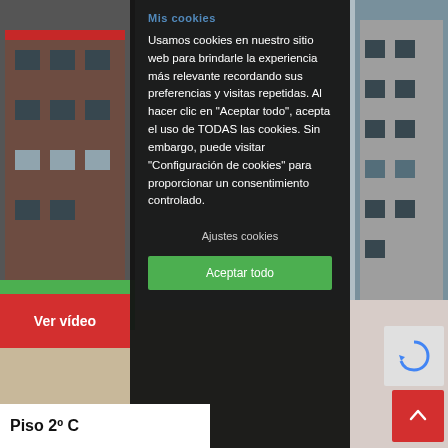[Figure (screenshot): Screenshot of a real estate website showing a cookie consent overlay on top of a 3D rendering of apartment buildings. The overlay is a dark semi-transparent panel with cookie consent text in Spanish.]
Usamos cookies en nuestro sitio web para brindarle la experiencia más relevante recordando sus preferencias y visitas repetidas. Al hacer clic en "Aceptar todo", acepta el uso de TODAS las cookies. Sin embargo, puede visitar "Configuración de cookies" para proporcionar un consentimiento controlado.
Ajustes cookies
Aceptar todo
Ver vídeo
Piso 2º C